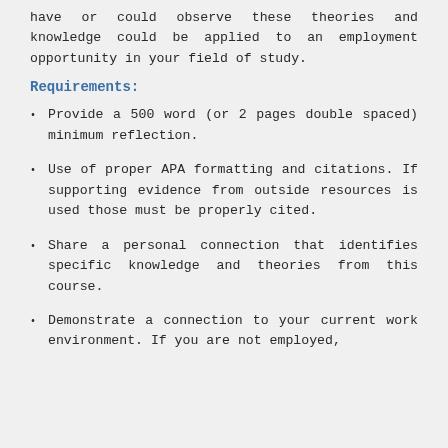have or could observe these theories and knowledge could be applied to an employment opportunity in your field of study.
Requirements:
Provide a 500 word (or 2 pages double spaced) minimum reflection.
Use of proper APA formatting and citations. If supporting evidence from outside resources is used those must be properly cited.
Share a personal connection that identifies specific knowledge and theories from this course.
Demonstrate a connection to your current work environment. If you are not employed,